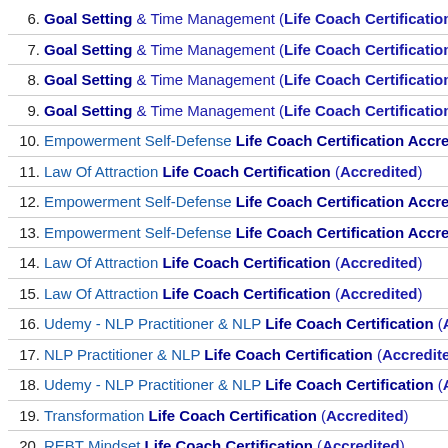6. Goal Setting & Time Management (Life Coach Certification)
7. Goal Setting & Time Management (Life Coach Certification)
8. Goal Setting & Time Management (Life Coach Certification)
9. Goal Setting & Time Management (Life Coach Certification)
10. Empowerment Self-Defense Life Coach Certification Accredited
11. Law Of Attraction Life Coach Certification (Accredited)
12. Empowerment Self-Defense Life Coach Certification Accredited
13. Empowerment Self-Defense Life Coach Certification Accredited
14. Law Of Attraction Life Coach Certification (Accredited)
15. Law Of Attraction Life Coach Certification (Accredited)
16. Udemy - NLP Practitioner & NLP Life Coach Certification (Accre...
17. NLP Practitioner & NLP Life Coach Certification (Accredited)
18. Udemy - NLP Practitioner & NLP Life Coach Certification (Accre...
19. Transformation Life Coach Certification (Accredited)
20. REBT Mindset Life Coach Certification (Accredited)
Comments